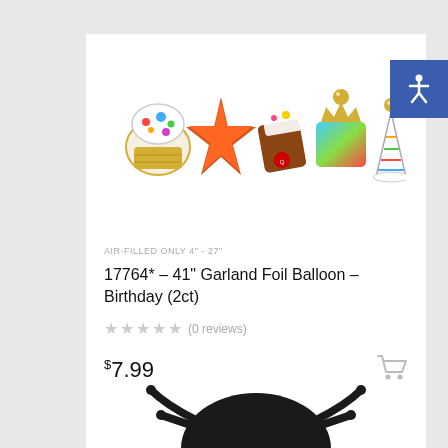[Figure (photo): Accessibility icon button with wheelchair symbol on blue background, positioned top right]
[Figure (photo): Garland foil balloon set showing birthday-themed foil balloons: cupcake, star, cake slice, gift box, party hat]
AIR-FILLED ONLY 4" - 27"
17764* – 41" Garland Foil Balloon – Birthday (2ct)
(0 reviews)
$7.99
[Figure (photo): Partial view of a second product showing a black spider balloon or decoration at the bottom of the page]